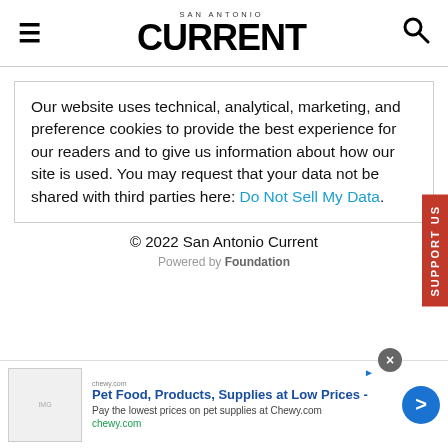SAN ANTONIO CURRENT
Our website uses technical, analytical, marketing, and preference cookies to provide the best experience for our readers and to give us information about how our site is used. You may request that your data not be shared with third parties here: Do Not Sell My Data.
© 2022 San Antonio Current
Powered by Foundation
[Figure (other): Advertisement banner: Chewy.com - Pet Food, Products, Supplies at Low Prices. Pay the lowest prices on pet supplies at Chewy.com]